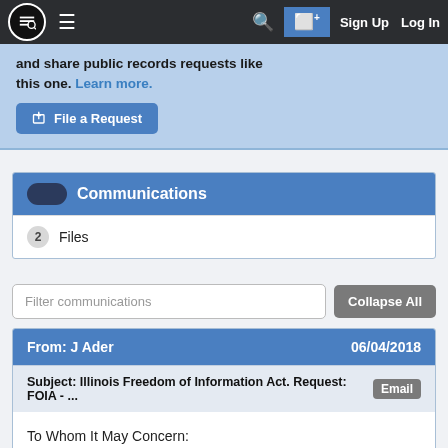MuckRock — Sign Up | Log In
and share public records requests like this one. Learn more.
File a Request
Communications
2 Files
Filter communications
Collapse All
From: J Ader   06/04/2018
Subject: Illinois Freedom of Information Act. Request: FOIA - ...   Email
To Whom It May Concern: